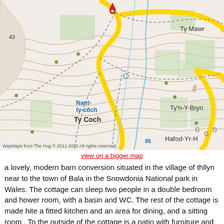[Figure (map): Topographic map showing the area around Ty Coch, Nant-ty-côch, Ty'n-Y-Bryn, Ty Mawr, Hafod-Yr-H, with roads including a yellow road and dashed paths. A red location pin marks a point near the top center. Map attribution: WayMaps from The Hug © 2011-2022 All rights reserved.]
view on a bigger map
a lovely, modern barn conversion situated in the village of Llyn near to the town of Bala in the Snowdonia National park in Wales. The cottage can sleep two people in a double bedroom and shower room, with a basin and WC. The rest of the cottage is made quite a fitted kitchen and an area for dining, and a sitting room. To the outside of the cottage is a patio with furniture and off parking for 2 cars. The area is perfect for keen walkers and cyclists, a nearby river means that fishing can be organised on prior arrangement from the owner.